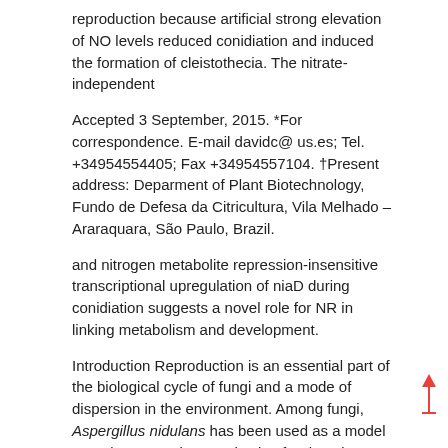reproduction because artificial strong elevation of NO levels reduced conidiation and induced the formation of cleistothecia. The nitrate-independent
Accepted 3 September, 2015. *For correspondence. E-mail davidc@ us.es; Tel. +34954554405; Fax +34954557104. †Present address: Deparment of Plant Biotechnology, Fundo de Defesa da Citricultura, Vila Melhado – Araraquara, São Paulo, Brazil.
and nitrogen metabolite repression-insensitive transcriptional upregulation of niaD during conidiation suggests a novel role for NR in linking metabolism and development.
Introduction Reproduction is an essential part of the biological cycle of fungi and a mode of dispersion in the environment. Among fungi, Aspergillus nidulans has been used as a model organism to study reproduction for decades. A. nidulans displays two modes of reproduction: sexual or asexual. The asexual development program (conidiation) is initiated when superficial hyphae are